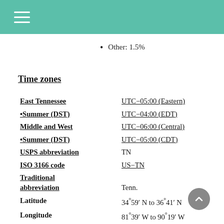Other: 1.5%
Time zones
| Label | Value |
| --- | --- |
| East Tennessee | UTC−05:00 (Eastern) |
| •Summer (DST) | UTC−04:00 (EDT) |
| Middle and West | UTC−06:00 (Central) |
| •Summer (DST) | UTC−05:00 (CDT) |
| USPS abbreviation | TN |
| ISO 3166 code | US−TN |
| Traditional abbreviation | Tenn. |
| Latitude | 34°59′ N to 36°41′ N |
| Longitude | 81°39′ W to 90°19′ W |
| Website | www.tn.gov |